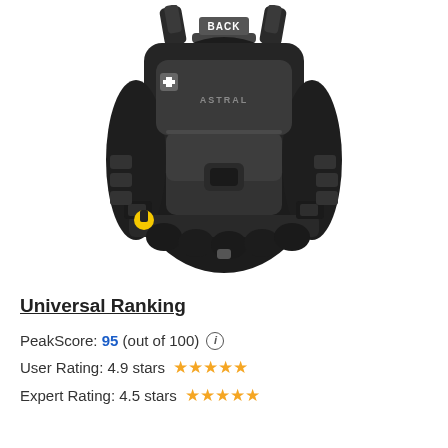[Figure (photo): Back view of an Astral black kayaking/whitewater PFD (personal flotation device) life vest with straps, buckles, pockets, and a yellow toggle on the left side]
Universal Ranking
PeakScore: 95 (out of 100) i
User Rating: 4.9 stars ★★★★★
Expert Rating: 4.5 stars ★★★★★